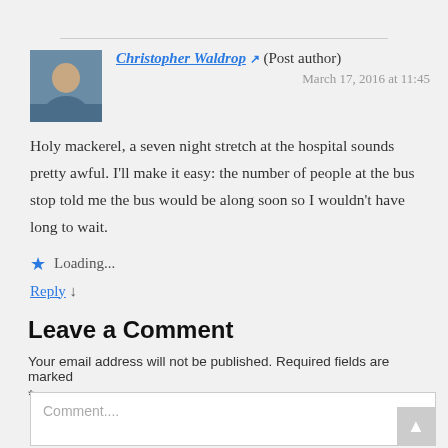Christopher Waldrop ↗ (Post author)
March 17, 2016 at 11:45
Holy mackerel, a seven night stretch at the hospital sounds pretty awful. I'll make it easy: the number of people at the bus stop told me the bus would be along soon so I wouldn't have long to wait.
★ Loading...
Reply ↓
Leave a Comment
Your email address will not be published. Required fields are marked *
Comment....